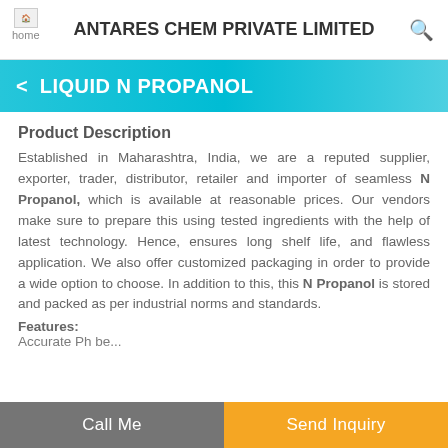ANTARES CHEM PRIVATE LIMITED
LIQUID N PROPANOL
Product Description
Established in Maharashtra, India, we are a reputed supplier, exporter, trader, distributor, retailer and importer of seamless N Propanol, which is available at reasonable prices. Our vendors make sure to prepare this using tested ingredients with the help of latest technology. Hence, ensures long shelf life, and flawless application. We also offer customized packaging in order to provide a wide option to choose. In addition to this, this N Propanol is stored and packed as per industrial norms and standards.
Features:
Call Me | Send Inquiry